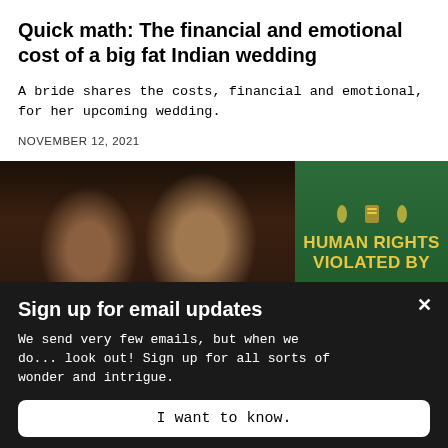Quick math: The financial and emotional cost of a big fat Indian wedding
A bride shares the costs, financial and emotional, for her upcoming wedding.
NOVEMBER 12, 2021
[Figure (photo): Two men posing for a photo (left panel) and a green book cover with text 'HUMAN RIGHTS VIOLATED BY' in gold letters (right panel)]
Sign up for email updates
We send very few emails, but when we do... look out! Sign up for all sorts of wonder and intrigue.
I want to know.